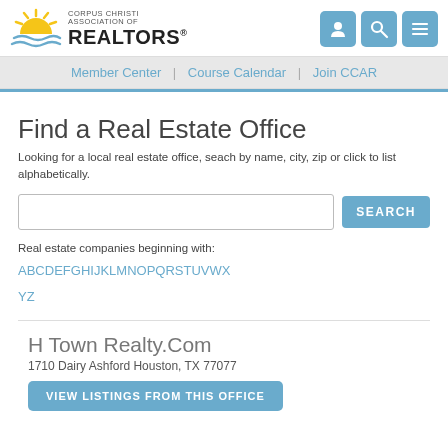Corpus Christi Association of REALTORS®
Member Center | Course Calendar | Join CCAR
Find a Real Estate Office
Looking for a local real estate office, seach by name, city, zip or click to list alphabetically.
SEARCH
Real estate companies beginning with:
A B C D E F G H I J K L M N O P Q R S T U V W X Y Z
H Town Realty.Com
1710 Dairy Ashford Houston, TX 77077
VIEW LISTINGS FROM THIS OFFICE